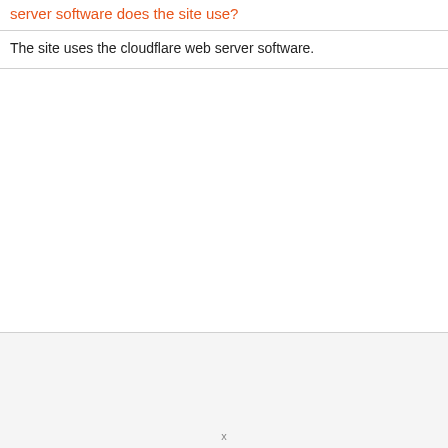server software does the site use?
The site uses the cloudflare web server software.